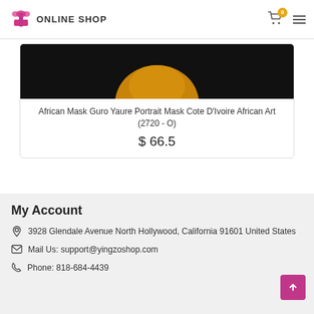ONLINE SHOP
African Mask Guro Yaure Portrait Mask Cote D'Ivoire African Art (2720 - O)
$ 66.5
My Account
3928 Glendale Avenue North Hollywood, California 91601 United States
Mail Us: support@yingzoshop.com
Phone: 818-684-4439